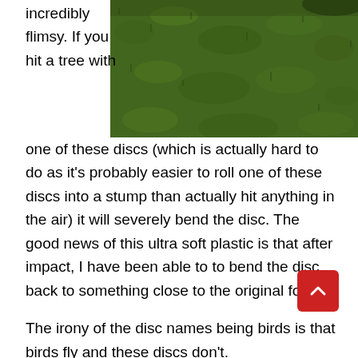[Figure (photo): Close-up photo of green grass or turf surface]
incredibly flimsy. If you hit a tree with one of these discs (which is actually hard to do as it's probably easier to roll one of these discs into a stump than actually hit anything in the air) it will severely bend the disc. The good news of this ultra soft plastic is that after impact, I have been able to to bend the disc back to something close to the original form.
The irony of the disc names being birds is that birds fly and these discs don't.
For any more information about the terrible flight of the Franklin Discs, you can simply read my review of the H Disc golf set, since the molds used are almost identical with